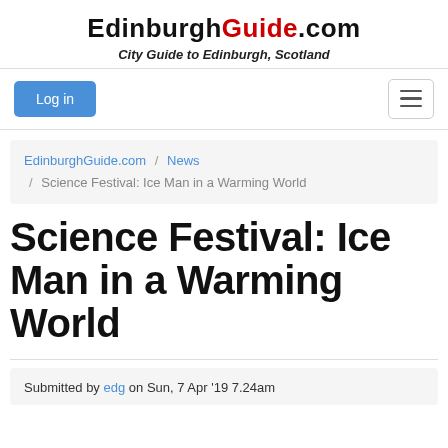EdinburghGuide.com — City Guide to Edinburgh, Scotland
Log in
EdinburghGuide.com / News / Science Festival: Ice Man in a Warming World
Science Festival: Ice Man in a Warming World
Submitted by edg on Sun, 7 Apr '19 7.24am